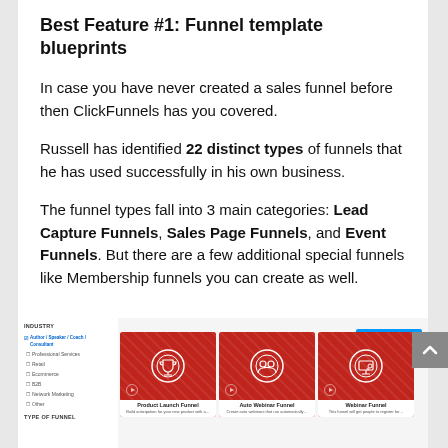Best Feature #1: Funnel template blueprints
In case you have never created a sales funnel before then ClickFunnels has you covered.
Russell has identified 22 distinct types of funnels that he has used successfully in his own business.
The funnel types fall into 3 main categories: Lead Capture Funnels, Sales Page Funnels, and Event Funnels. But there are a few additional special funnels like Membership funnels you can create as well.
[Figure (screenshot): ClickFunnels funnel template browser showing Industry sidebar with Author/Speaker/Coach/Consultant checked, and three funnel cards: Product Launch Funnel, Auto Webinar Funnel, Webinar Funnel on a red background.]